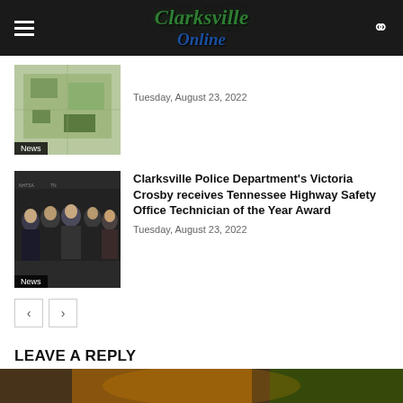Clarksville Online
[Figure (photo): Aerial map thumbnail with News badge]
Tuesday, August 23, 2022
Clarksville Police Department's Victoria Crosby receives Tennessee Highway Safety Office Technician of the Year Award
[Figure (photo): Group photo of police officers in uniform with News badge]
Tuesday, August 23, 2022
LEAVE A REPLY
LOG IN TO LEAVE A COMMENT
[Figure (photo): Partial bottom image strip visible at page bottom]